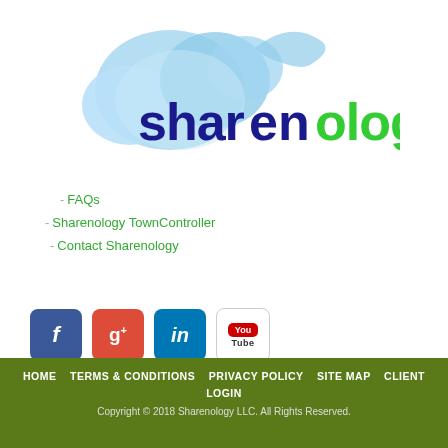[Figure (logo): Sharenology logo with blue cloud graphic and text 'sharenology' in dark blue and green with TM symbol]
- FAQs
- Sharenology TownController
- Contact Sharenology
[Figure (illustration): Social media icons: Facebook, Google+, LinkedIn, YouTube]
HOME   TERMS & CONDITIONS   PRIVACY POLICY   SITE MAP   CLIENT LOGIN
Copyright © 2018 Sharenology LLC. All Rights Reserved.